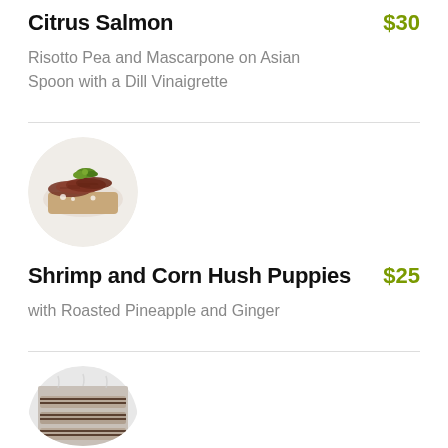Citrus Salmon $30
Risotto Pea and Mascarpone on Asian Spoon with a Dill Vinaigrette
[Figure (photo): Circular food photo showing sliced meat with green herb garnish on a white plate]
Shrimp and Corn Hush Puppies $25
with Roasted Pineapple and Ginger
[Figure (photo): Circular food photo showing grilled/roasted items, partially cut off at bottom of page]